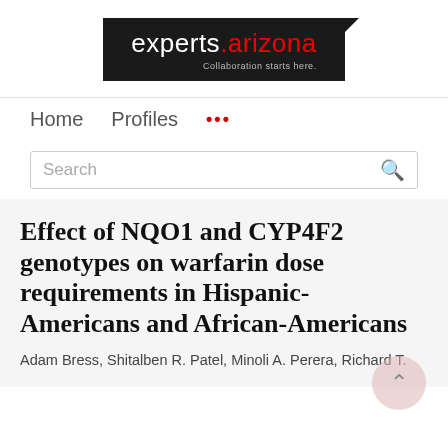[Figure (logo): experts.arizona logo — black background box with white text 'experts' and red text '.arizona', tagline 'Collaboration starts here.']
Home   Profiles   ...
Search
Effect of NQO1 and CYP4F2 genotypes on warfarin dose requirements in Hispanic-Americans and African-Americans
Adam Bress, Shitalben R. Patel, Minoli A. Perera, Richard T.